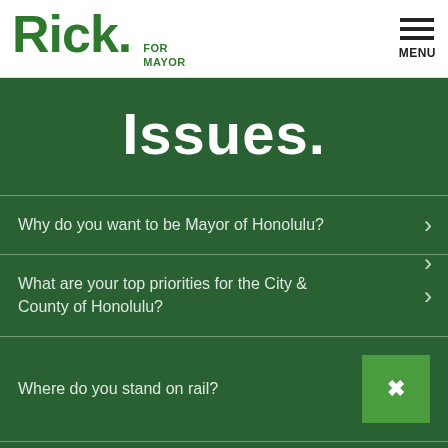Rick. FOR MAYOR | MENU
Issues.
Why do you want to be Mayor of Honolulu?
What are your top priorities for the City & County of Honolulu?
Where do you stand on rail?
What do we need to do to streamline City